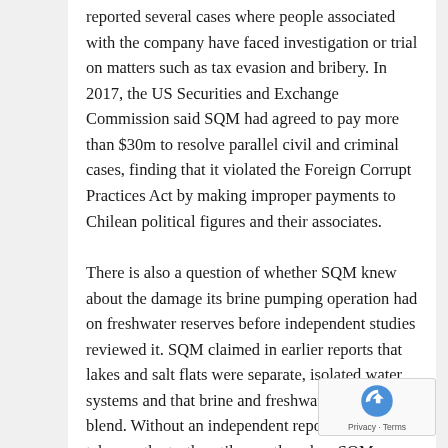reported several cases where people associated with the company have faced investigation or trial on matters such as tax evasion and bribery. In 2017, the US Securities and Exchange Commission said SQM had agreed to pay more than $30m to resolve parallel civil and criminal cases, finding that it violated the Foreign Corrupt Practices Act by making improper payments to Chilean political figures and their associates.
There is also a question of whether SQM knew about the damage its brine pumping operation had on freshwater reserves before independent studies reviewed it. SQM claimed in earlier reports that lakes and salt flats were separate, isolated water systems and that brine and freshwater would not blend. Without an independent report, this was taken as the truth until recently, when SQM acknowledged that there was some interaction between the systems. The truth, that the two water systems do indeed mix – brine and fresh water – which according to research jeopardises nearby freshwater reservoirs, came only to light after independent scientific studies began to publish their own results. However,